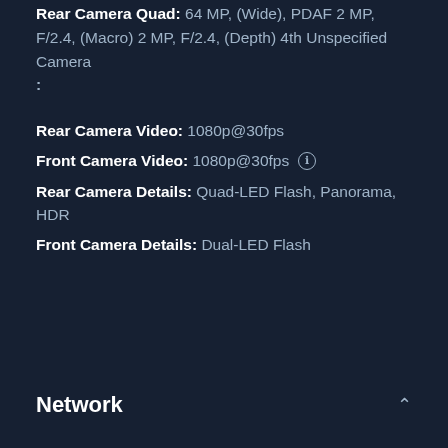Rear Camera Quad: 64 MP, (Wide), PDAF 2 MP, F/2.4, (Macro) 2 MP, F/2.4, (Depth) 4th Unspecified Camera
:
Rear Camera Video: 1080p@30fps
Front Camera Video: 1080p@30fps (i)
Rear Camera Details: Quad-LED Flash, Panorama, HDR
Front Camera Details: Dual-LED Flash
Network